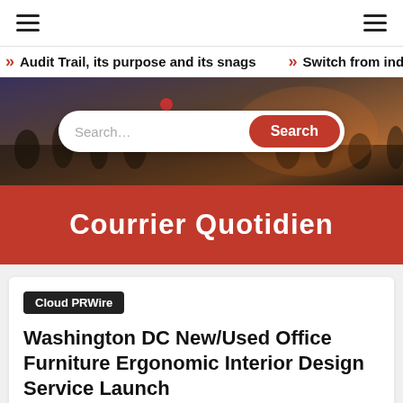Navigation bar with hamburger menus
Audit Trail, its purpose and its snags  »  Switch from indus
[Figure (photo): Street scene with crowd of people, urban setting, warm sunset lighting, with search bar overlay]
Courrier Quotidien
Cloud PRWire
Washington DC New/Used Office Furniture Ergonomic Interior Design Service Launch